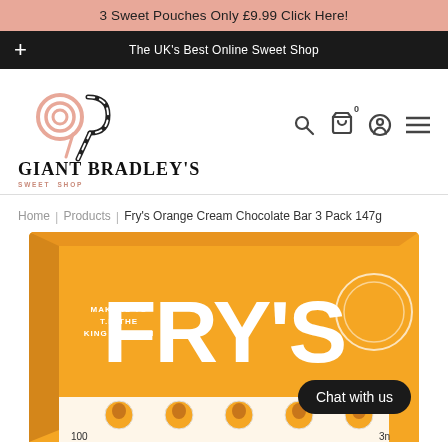3 Sweet Pouches Only £9.99 Click Here!
The UK's Best Online Sweet Shop
[Figure (logo): Giant Bradley's Sweet Shop logo — lollipop and candy cane graphic with brand name text]
Home | Products | Fry's Orange Cream Chocolate Bar 3 Pack 147g
[Figure (photo): Fry's Orange Cream Chocolate Bar 3 Pack 147g product box in orange with white Fry's branding and 'Makers to T.M The King & Queen' text. Chat with us button visible.]